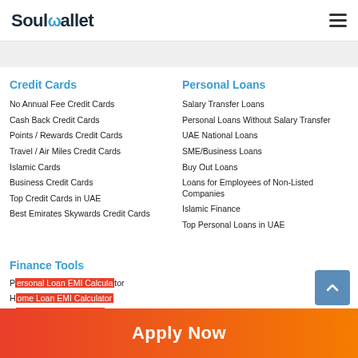SoulWallet
Credit Cards
No Annual Fee Credit Cards
Cash Back Credit Cards
Points / Rewards Credit Cards
Travel / Air Miles Credit Cards
Islamic Cards
Business Credit Cards
Top Credit Cards in UAE
Best Emirates Skywards Credit Cards
Personal Loans
Salary Transfer Loans
Personal Loans Without Salary Transfer
UAE National Loans
SME/Business Loans
Buy Out Loans
Loans for Employees of Non-Listed Companies
Islamic Finance
Top Personal Loans in UAE
Finance Tools
Personal Loan EMI Calculator
Home Loan EMI Calculator
Car Loan EMI Calculator
Currency Converter